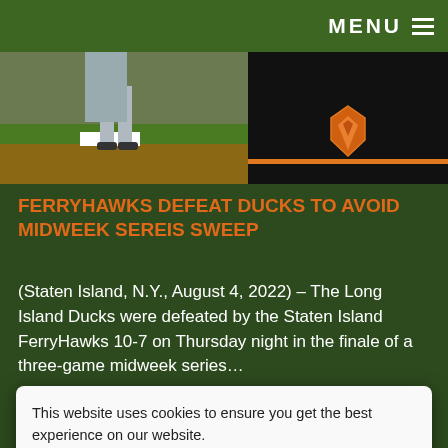MENU
[Figure (photo): Top portion: left side shows baseball player legs on field, right side shows dark background with orange duck/bird logo on orange stripe]
FERRYHAWKS DEFEAT DUCKS TO AVOID MIDWEEK SEREIS SWEEP
(Staten Island, N.Y., August 4, 2022) – The Long Island Ducks were defeated by the Staten Island FerryHawks 10-7 on Thursday night in the finale of a three-game midweek series…
READ MORE
This website uses cookies to ensure you get the best experience on our website.
Learn more
Got it!
[Figure (photo): Bottom section showing baseball game action with player in orange jersey #5, Long Island Ducks logo in center, Staten Island FerryHawks logo on right]